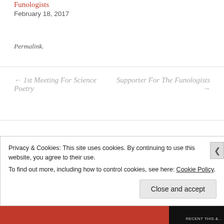Funologists
February 18, 2017
Permalink.
← 1st Meeting For Science Poetry
Supporter For The Funologists →
LEAVE A REPLY
Privacy & Cookies: This site uses cookies. By continuing to use this website, you agree to their use.
To find out more, including how to control cookies, see here: Cookie Policy
Close and accept